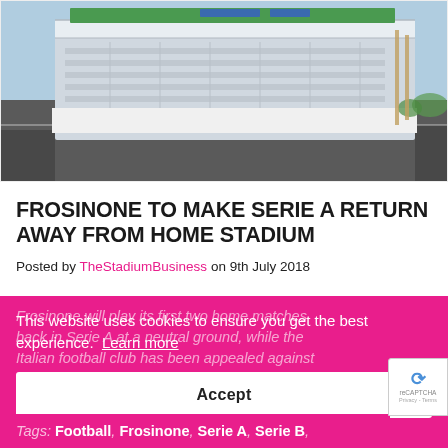[Figure (photo): Aerial view of Frosinone stadium, a modern football ground with white steel structure, green pitch visible, surrounded by parking areas and construction]
FROSINONE TO MAKE SERIE A RETURN AWAY FROM HOME STADIUM
Posted by TheStadiumBusiness on 9th July 2018
This website uses cookies to ensure you get the best experience. Learn more
Accept
Tags: Football, Frosinone, Serie A, Serie B,